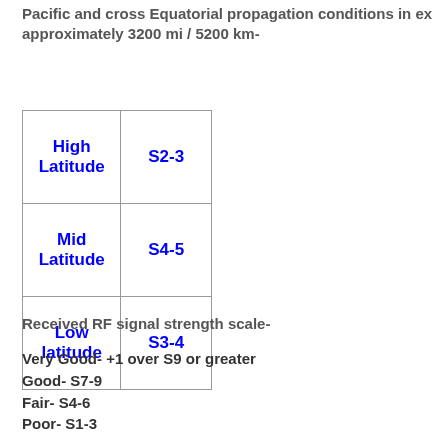Pacific and cross Equatorial propagation conditions in ex... approximately 3200 mi / 5200 km-
| High Latitude | S2-3 |
| Mid Latitude | S4-5 |
| Low latitude | S3-4 |
Received RF signal strength scale-
Very Good- +1 over S9 or greater
Good- S7-9
Fair- S4-6
Poor- S1-3